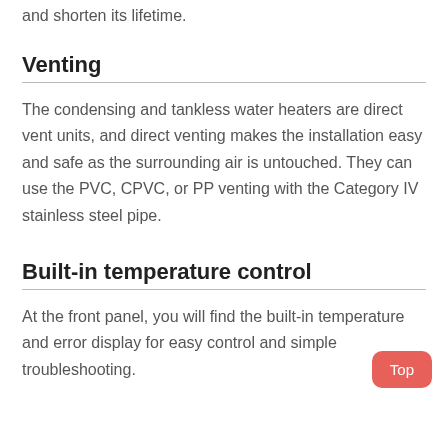and shorten its lifetime.
Venting
The condensing and tankless water heaters are direct vent units, and direct venting makes the installation easy and safe as the surrounding air is untouched. They can use the PVC, CPVC, or PP venting with the Category IV stainless steel pipe.
Built-in temperature control
At the front panel, you will find the built-in temperature and error display for easy control and simple troubleshooting.